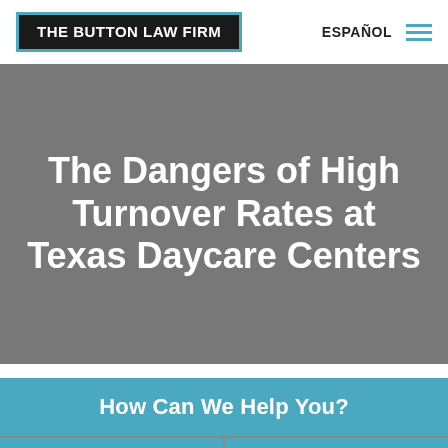THE BUTTON LAW FIRM | ESPAÑOL
The Dangers of High Turnover Rates at Texas Daycare Centers
How Can We Help You?
CHAT
CALL